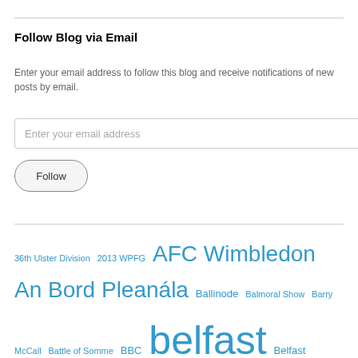Follow Blog via Email
Enter your email address to follow this blog and receive notifications of new posts by email.
[email input field] Enter your email address
[Follow button]
36th Ulster Division  2013 WPFG  AFC Wimbledon  An Bord Pleanála  Ballinode  Balmoral Show  Barry McCall  Battle of Somme  BBC  belfast  Belfast Festival  Belfast Lions Club  Big Music Week  Birmingham  BOSE  Bristol  Carlow  Carrickmacross